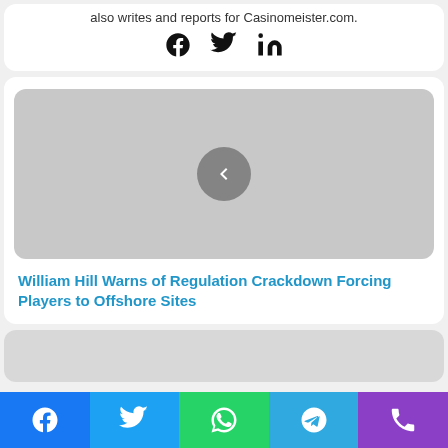also writes and reports for Casinomeister.com.
[Figure (illustration): Social share icons: Facebook, Twitter, LinkedIn in black]
[Figure (illustration): Grey image placeholder with a left-arrow navigation button (previous)]
William Hill Warns of Regulation Crackdown Forcing Players to Offshore Sites
[Figure (illustration): Grey image placeholder for second article card]
[Figure (illustration): Bottom share bar with Facebook, Twitter, WhatsApp, Telegram, Phone icons]